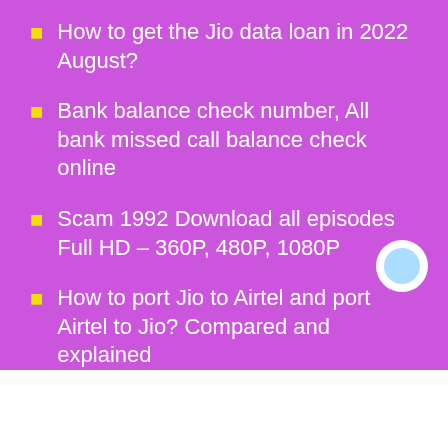How to get the Jio data loan in 2022 August?
Bank balance check number, All bank missed call balance check online
Scam 1992 Download all episodes Full HD – 360P, 480P, 1080P
How to port Jio to Airtel and port Airtel to Jio? Compared and explained
How to link Aadhaar card with Voter ID card in few clicks – Step by step guide